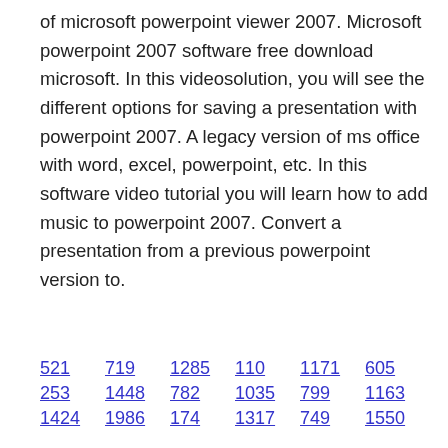of microsoft powerpoint viewer 2007. Microsoft powerpoint 2007 software free download microsoft. In this videosolution, you will see the different options for saving a presentation with powerpoint 2007. A legacy version of ms office with word, excel, powerpoint, etc. In this software video tutorial you will learn how to add music to powerpoint 2007. Convert a presentation from a previous powerpoint version to.
521   719   1285   110   1171   605
253   1448   782   1035   799   1163
1424   1986   174   1317   749   1550